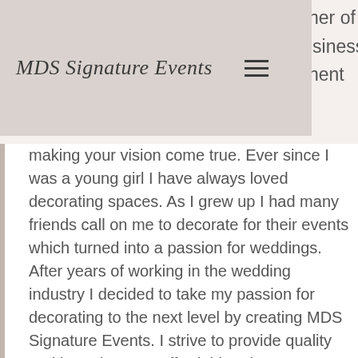MDS Signature Events
making your vision come true. Ever since I was a young girl I have always loved decorating spaces. As I grew up I had many friends call on me to decorate for their events which turned into a passion for weddings. After years of working in the wedding industry I decided to take my passion for decorating to the next level by creating MDS Signature Events. I strive to provide quality and integrity at an affordable price. I am married to my loving and supportive husband Scott going on 13 years and am a mother of two beautiful girls. I would also like to say a heartfelt thank you to my mother who has been a rock and key component in making this dream of mine a reality. I thank God for all the wonderful